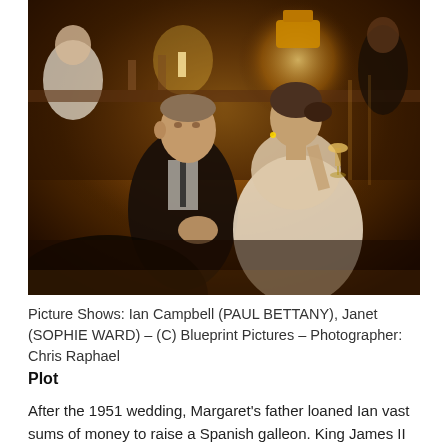[Figure (photo): A man in a dark tuxedo and a woman in a light satin dress sitting together in a warmly lit bar or lounge setting. The man appears to be talking to the woman who holds a glass. Warm amber and golden lighting throughout. Other figures visible in background.]
Picture Shows: Ian Campbell (PAUL BETTANY), Janet (SOPHIE WARD) – (C) Blueprint Pictures – Photographer: Chris Raphael
Plot
After the 1951 wedding, Margaret's father loaned Ian vast sums of money to raise a Spanish galleon. King James II